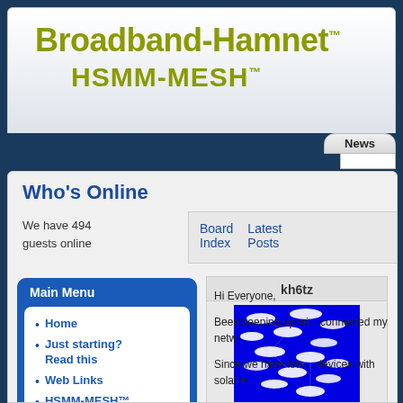[Figure (logo): Broadband-Hamnet HSMM-MESH logo with olive/yellow-green bold text on light gray gradient background]
News
Who's Online
We have 494 guests online
Board Index   Latest Posts
Main Menu
Home
Just starting? Read this
Web Links
HSMM-MESH™ Forums
Awards
kh6tz
[Figure (photo): Blue background with white fish/mesh nodes illustration]
Hi Everyone,

Been keeping up wi... connected my netw...

Since we have lots... devices with solar e...